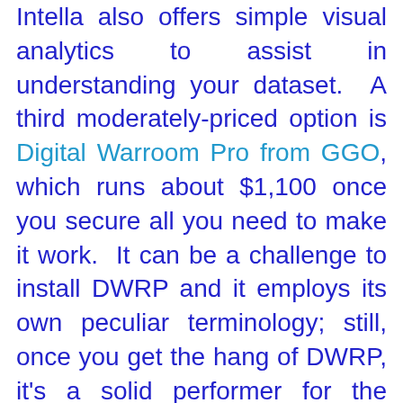Intella also offers simple visual analytics to assist in understanding your dataset. A third moderately-priced option is Digital Warroom Pro from GGO, which runs about $1,100 once you secure all you need to make it work. It can be a challenge to install DWRP and it employs its own peculiar terminology; still, once you get the hang of DWRP, it's a solid performer for the price.
At LegalTech New York last week, I came across what may be a fourth contender for the title of moderately-priced e-mail e-discovery tool. Though I haven't put it through its paces, MailXaminer from Systools ($1,600) strikes me as a capable end-to-end tool for indexing, searching, tagging and producing e-mail evidence.
My expectation that lawyers learn to undertake basic e-discovery tasks remains one of the most contentious and